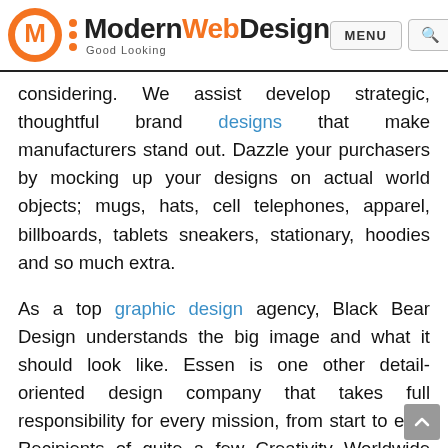Modern Web Design — Good Looking | MENU | Search
considering. We assist develop strategic, thoughtful brand designs that make manufacturers stand out. Dazzle your purchasers by mocking up your designs on actual world objects; mugs, hats, cell telephones, apparel, billboards, tablets sneakers, stationary, hoodies and so much extra.
As a top graphic design agency, Black Bear Design understands the big image and what it should look like. Essen is one other detail-oriented design company that takes full responsibility for every mission, from start to end. Recipients of quite a few Creativity Worldwide awards (together with quite a